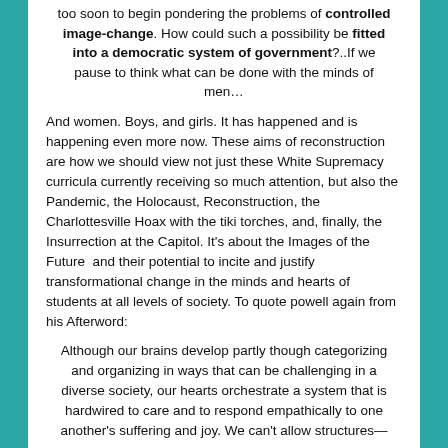too soon to begin pondering the problems of controlled image-change. How could such a possibility be fitted into a democratic system of government?..If we pause to think what can be done with the minds of men…
And women. Boys, and girls. It has happened and is happening even more now. These aims of reconstruction are how we should view not just these White Supremacy curricula currently receiving so much attention, but also the Pandemic, the Holocaust, Reconstruction, the Charlottesville Hoax with the tiki torches, and, finally, the Insurrection at the Capitol. It's about the Images of the Future  and their potential to incite and justify transformational change in the minds and hearts of students at all levels of society. To quote powell again from his Afterword:
Although our brains develop partly though categorizing and organizing in ways that can be challenging in a diverse society, our hearts orchestrate a system that is hardwired to care and to respond empathically to one another's suffering and joy. We can't allow structures—